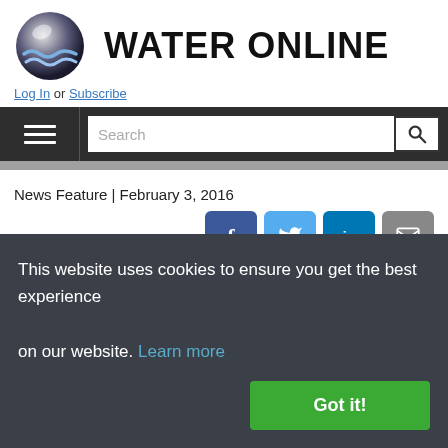[Figure (logo): Water Online logo: dark globe with water wave graphic and bold 'WATER ONLINE' text]
Log In or Subscribe
Navigation bar with hamburger menu and search field
News Feature | February 3, 2016
[Figure (infographic): Social sharing buttons: Facebook, Twitter, LinkedIn, Email]
Data Analytics An Answer To
This website uses cookies to ensure you get the best experience on our website. Learn more
Got it!